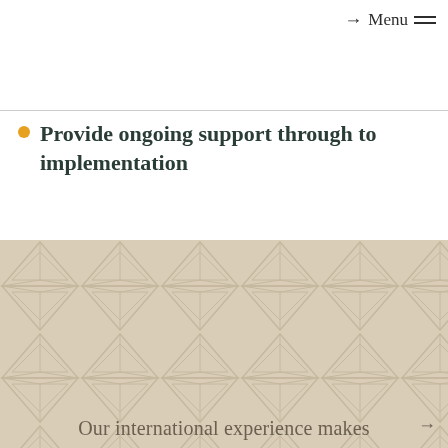Menu
Provide ongoing support through to implementation
[Figure (illustration): Decorative geometric triangular/hexagonal tile pattern in beige/tan tones forming the bottom half background]
Our international experience makes